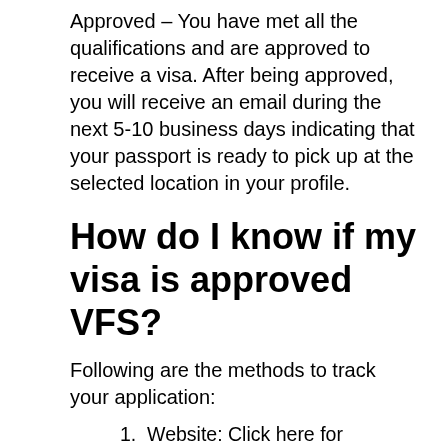Approved – You have met all the qualifications and are approved to receive a visa. After being approved, you will receive an email during the next 5-10 business days indicating that your passport is ready to pick up at the selected location in your profile.
How do I know if my visa is approved VFS?
Following are the methods to track your application:
1. Website: Click here for applications lodged on or after 02 November 2019.
2. Web chat: Chat Now
3. Email: Send an email to info.capsa@vfshelpline.com